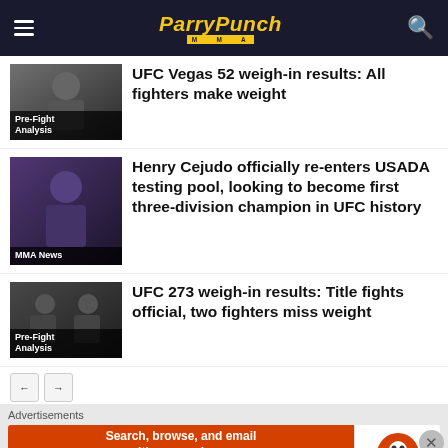ParryPunch MMA
UFC Vegas 52 weigh-in results: All fighters make weight
Pre-Fight Analysis
Henry Cejudo officially re-enters USADA testing pool, looking to become first three-division champion in UFC history
MMA News
UFC 273 weigh-in results: Title fights official, two fighters miss weight
Pre-Fight Analysis
Advertisements
[Figure (screenshot): DuckDuckGo advertisement banner: 'Search, browse, and email with more privacy. All in One Free App' with DuckDuckGo logo]